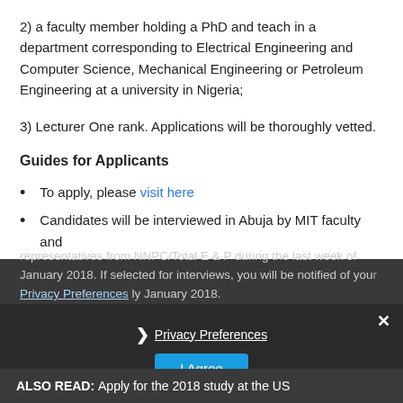2) a faculty member holding a PhD and teach in a department corresponding to Electrical Engineering and Computer Science, Mechanical Engineering or Petroleum Engineering at a university in Nigeria;
3) Lecturer One rank. Applications will be thoroughly vetted.
Guides for Applicants
To apply, please visit here
Candidates will be interviewed in Abuja by MIT faculty and representatives from NNPC/Total E & P during the last week of January 2018. If selected for interviews, you will be notified of your interview by January 2018.
ALSO READ: Apply for the 2018 study at the US...